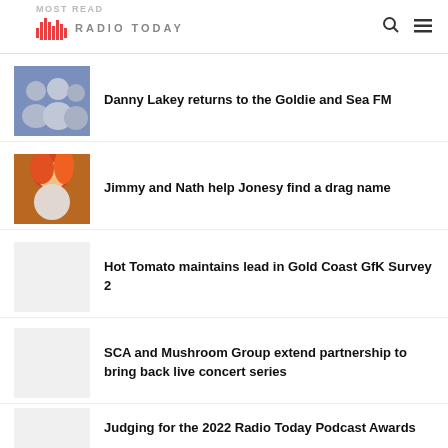MOST READ | Radio Today
Danny Lakey returns to the Goldie and Sea FM
Jimmy and Nath help Jonesy find a drag name
Hot Tomato maintains lead in Gold Coast GfK Survey 2
SCA and Mushroom Group extend partnership to bring back live concert series
Judging for the 2022 Radio Today Podcast Awards